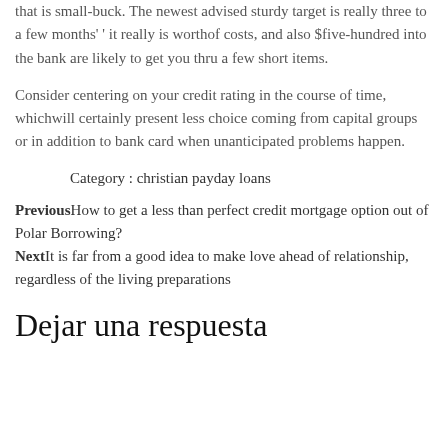that is small-buck. The newest advised sturdy target is really three to a few months' ' it really is worthof costs, and also $five-hundred into the bank are likely to get you thru a few short items.
Consider centering on your credit rating in the course of time, whichwill certainly present less choice coming from capital groups or in addition to bank card when unanticipated problems happen.
Category : christian payday loans
PreviousHow to get a less than perfect credit mortgage option out of Polar Borrowing?
NextIt is far from a good idea to make love ahead of relationship, regardless of the living preparations
Dejar una respuesta